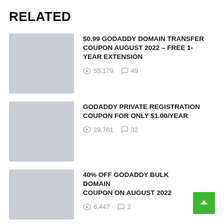RELATED
$0.99 GODADDY DOMAIN TRANSFER COUPON AUGUST 2022 – FREE 1-YEAR EXTENSION — 55,179 views, 49 comments
GODADDY PRIVATE REGISTRATION COUPON FOR ONLY $1.00/YEAR — 29,761 views, 32 comments
40% OFF GODADDY BULK DOMAIN COUPON ON AUGUST 2022 — 6,447 views, 2 comments